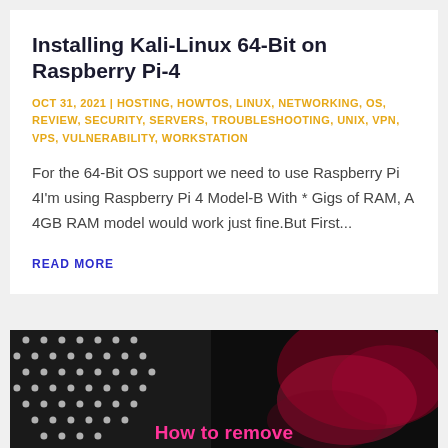Installing Kali-Linux 64-Bit on Raspberry Pi-4
OCT 31, 2021 | HOSTING, HOWTOS, LINUX, NETWORKING, OS, REVIEW, SECURITY, SERVERS, TROUBLESHOOTING, UNIX, VPN, VPS, VULNERABILITY, WORKSTATION
For the 64-Bit OS support we need to use Raspberry Pi 4I'm using Raspberry Pi 4 Model-B With * Gigs of RAM, A 4GB RAM model would work just fine.But First...
READ MORE
[Figure (photo): Dark image with dotted sphere on left and red/magenta smoke or texture on right, with pink text 'How to remove' partially visible at bottom]